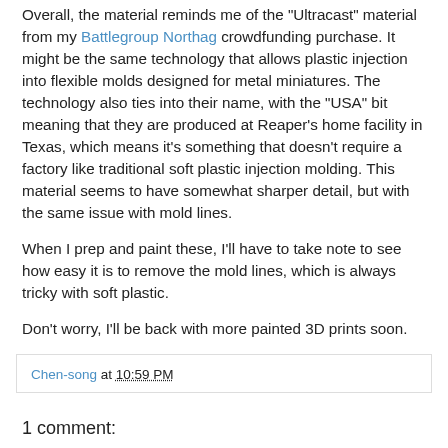Overall, the material reminds me of the "Ultracast" material from my Battlegroup Northag crowdfunding purchase. It might be the same technology that allows plastic injection into flexible molds designed for metal miniatures. The technology also ties into their name, with the "USA" bit meaning that they are produced at Reaper's home facility in Texas, which means it's something that doesn't require a factory like traditional soft plastic injection molding. This material seems to have somewhat sharper detail, but with the same issue with mold lines.
When I prep and paint these, I'll have to take note to see how easy it is to remove the mold lines, which is always tricky with soft plastic.
Don't worry, I'll be back with more painted 3D prints soon.
Chen-song at 10:59 PM
1 comment: